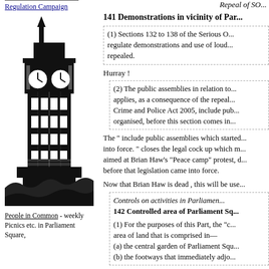Regulation Campaign
[Figure (illustration): Black and white illustration of Big Ben / Elizabeth Tower with stylized crowd or waves at the base]
People in Common - weekly Picnics etc. in Parliament Square,
Repeal of SO...
141 Demonstrations in vicinity of Par...
(1) Sections 132 to 138 of the Serious O... regulate demonstrations and use of loud... repealed.
Hurray !
(2) The public assemblies in relation to... applies, as a consequence of the repeal... Crime and Police Act 2005, include pub... organised, before this section comes in...
The " include public assemblies which started... into force. " closes the legal cock up which m... aimed at Brian Haw's "Peace camp" protest, d... before that legislation came into force.
Now that Brian Haw is dead , this will be use...
Controls on activities in Parliamen... 142 Controlled area of Parliament Sq...
(1) For the purposes of this Part, the "c... area of land that is comprised in— (a) the central garden of Parliament Squ... (b) the footways that immediately adjo...